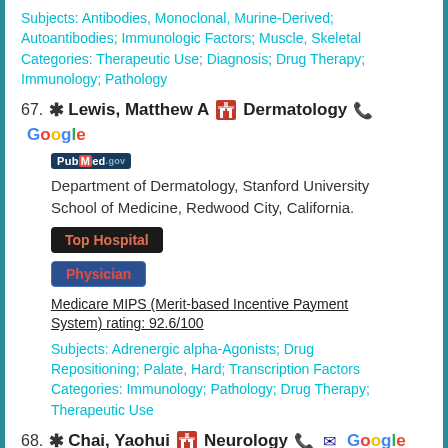Subjects: Antibodies, Monoclonal, Murine-Derived; Autoantibodies; Immunologic Factors; Muscle, Skeletal Categories: Therapeutic Use; Diagnosis; Drug Therapy; Immunology; Pathology
67. * Lewis, Matthew A  Dermatology  [phone] Google
[Figure (logo): PubMed.gov badge]
Department of Dermatology, Stanford University School of Medicine, Redwood City, California.
Top Hospital
Physician
Medicare MIPS (Merit-based Incentive Payment System) rating: 92.6/100
Subjects: Adrenergic alpha-Agonists; Drug Repositioning; Palate, Hard; Transcription Factors Categories: Immunology; Pathology; Drug Therapy; Therapeutic Use
68. * Chai, Yaohui  Neurology  [phone] [mail] Google
[Figure (logo): PubMed.gov badge]